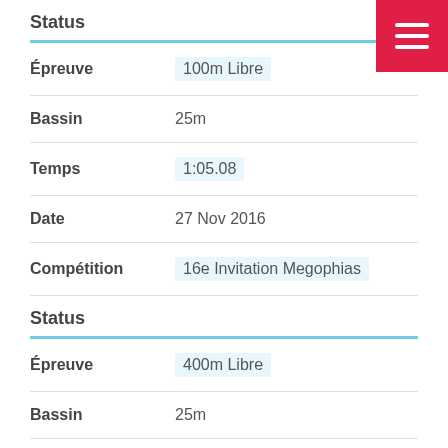Status
| Field | Value |
| --- | --- |
| Épreuve | 100m Libre |
| Bassin | 25m |
| Temps | 1:05.08 |
| Date | 27 Nov 2016 |
| Compétition | 16e Invitation Megophias |
Status
| Field | Value |
| --- | --- |
| Épreuve | 400m Libre |
| Bassin | 25m |